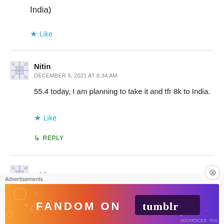India)
★ Like
Nitin
DECEMBER 9, 2021 AT 8:34 AM
55.4 today, I am planning to take it and tfr 8k to India.
★ Like
↳ REPLY
Nitin
Advertisements
[Figure (illustration): Fandom on Tumblr advertisement banner with colorful gradient background]